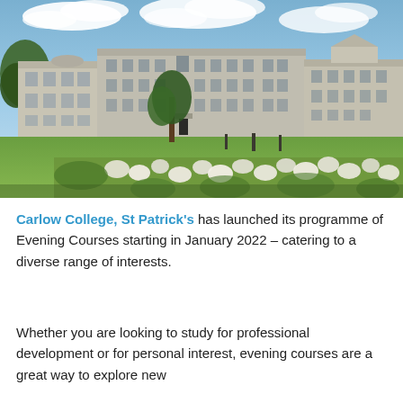[Figure (photo): Exterior photograph of Carlow College, St Patrick's — a large Georgian-style multi-wing stone building with a wide green lawn in the foreground and white flowering shrubs along the bottom edge, under a partly cloudy blue sky.]
Carlow College, St Patrick's has launched its programme of Evening Courses starting in January 2022 – catering to a diverse range of interests.
Whether you are looking to study for professional development or for personal interest, evening courses are a great way to explore new